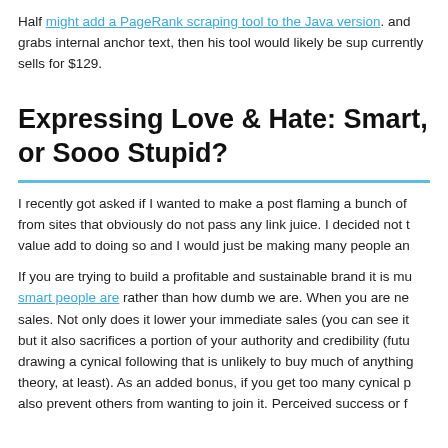Half might add a PageRank scraping tool to the Java version. and grabs internal anchor text, then his tool would likely be sup currently sells for $129.
Expressing Love & Hate: Smart, or Sooo Stupid?
I recently got asked if I wanted to make a post flaming a bunch of from sites that obviously do not pass any link juice. I decided not t value add to doing so and I would just be making many people an
If you are trying to build a profitable and sustainable brand it is mu smart people are rather than how dumb we are. When you are ne sales. Not only does it lower your immediate sales (you can see it but it also sacrifices a portion of your authority and credibility (futu drawing a cynical following that is unlikely to buy much of anything theory, at least). As an added bonus, if you get too many cynical p also prevent others from wanting to join it. Perceived success or f